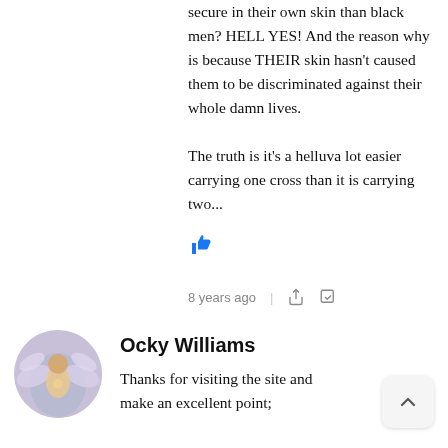secure in their own skin than black men? HELL YES! And the reason why is because THEIR skin hasn't caused them to be discriminated against their whole damn lives.

The truth is it's a helluva lot easier carrying one cross than it is carrying two...
[Figure (illustration): Thumbs up / like icon in blue]
8 years ago
[Figure (illustration): Circular avatar photo of Ocky Williams]
Ocky Williams
Thanks for visiting the site and make an excellent point;